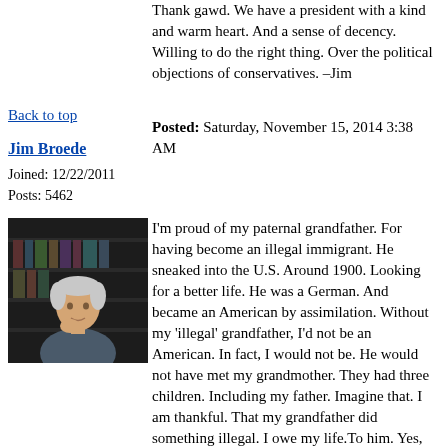Thank gawd. We have a president with a kind and warm heart. And a sense of decency. Willing to do the right thing. Over the political objections of conservatives. –Jim
Back to top
Posted: Saturday, November 15, 2014 3:38 AM
Jim Broede
Joined: 12/22/2011
Posts: 5462
[Figure (photo): Photo of Jim Broede, an older white-haired man sitting thoughtfully with hand near chin, against a dark bookshelf background]
I'm proud of my paternal grandfather. For having become an illegal immigrant. He sneaked into the U.S. Around 1900. Looking for a better life. He was a German. And became an American by assimilation. Without my 'illegal' grandfather, I'd not be an American. In fact, I would not be. He would not have met my grandmother. They had three children. Including my father. Imagine that. I am thankful. That my grandfather did something illegal. I owe my life.To him. Yes, folks, it's time to look at the big picture. Of life. In a kindly and appreciative and accepting way. --Jim